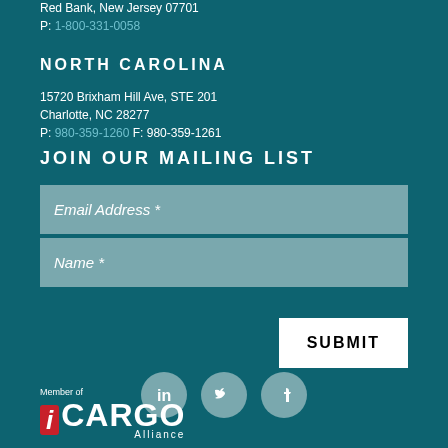Red Bank, New Jersey 07701
P: 1-800-331-0058
NORTH CAROLINA
15720 Brixham Hill Ave, STE 201
Charlotte, NC 28277
P: 980-359-1260 F: 980-359-1261
JOIN OUR MAILING LIST
Email Address *
Name *
SUBMIT
[Figure (infographic): Social media icons: LinkedIn, Twitter, Facebook as grey circles]
[Figure (logo): Member of iCARGO Alliance logo with red i box and white CARGO text]